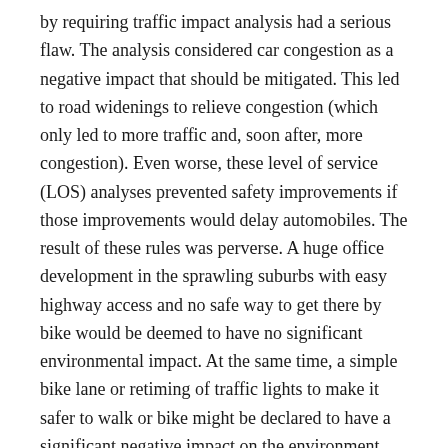by requiring traffic impact analysis had a serious flaw. The analysis considered car congestion as a negative impact that should be mitigated. This led to road widenings to relieve congestion (which only led to more traffic and, soon after, more congestion). Even worse, these level of service (LOS) analyses prevented safety improvements if those improvements would delay automobiles. The result of these rules was perverse. A huge office development in the sprawling suburbs with easy highway access and no safe way to get there by bike would be deemed to have no significant environmental impact. At the same time, a simple bike lane or retiming of traffic lights to make it safer to walk or bike might be declared to have a significant negative impact on the environment using the LOS traffic impact analysis.
In 2013, the legislature passed...